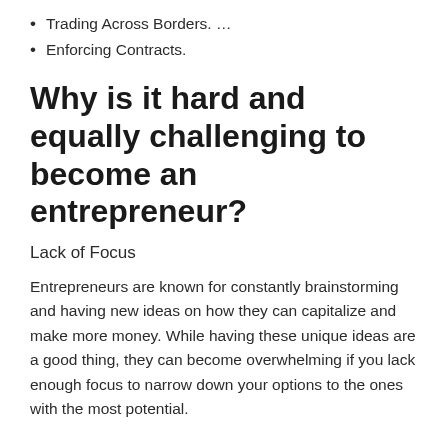Trading Across Borders. …
Enforcing Contracts.
Why is it hard and equally challenging to become an entrepreneur?
Lack of Focus
Entrepreneurs are known for constantly brainstorming and having new ideas on how they can capitalize and make more money. While having these unique ideas are a good thing, they can become overwhelming if you lack enough focus to narrow down your options to the ones with the most potential.